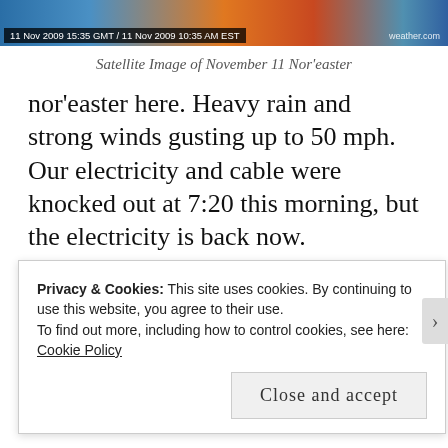[Figure (screenshot): Satellite weather image with timestamp bar showing '11 Nov 2009 15:35 GMT / 11 Nov 2009 10:35 AM EST' and weather.com watermark]
Satellite Image of November 11 Nor'easter
nor'easter here. Heavy rain and strong winds gusting up to 50 mph. Our electricity and cable were knocked out at 7:20 this morning, but the electricity is back now.
Advertisements
[Figure (logo): Automattic logo with orange dot and tagline 'Build a better web and a better world.']
REPORT THIS AD
Do you want to know how I live my way through on the
Privacy & Cookies: This site uses cookies. By continuing to use this website, you agree to their use.
To find out more, including how to control cookies, see here: Cookie Policy
Close and accept